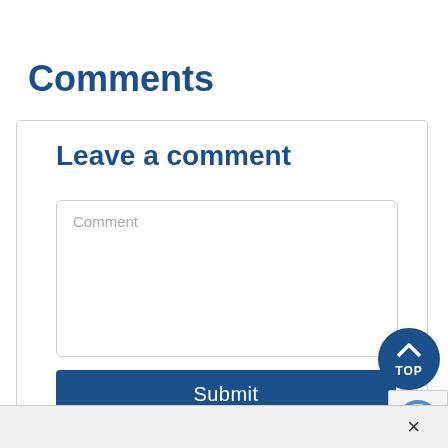Comments
Leave a comment
Comment
Submit
[Figure (other): Circular dark blue 'TOP' button with upward chevron arrow]
[Figure (other): reCAPTCHA badge partial view]
×